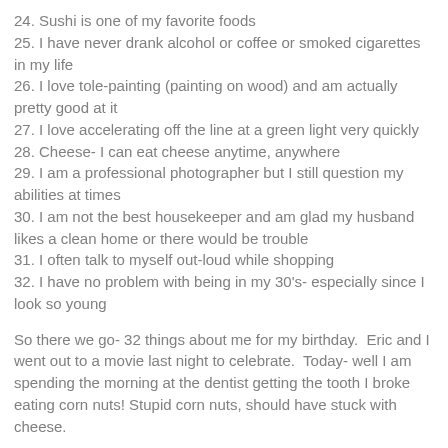24. Sushi is one of my favorite foods
25. I have never drank alcohol or coffee or smoked cigarettes in my life
26. I love tole-painting (painting on wood) and am actually pretty good at it
27. I love accelerating off the line at a green light very quickly
28. Cheese- I can eat cheese anytime, anywhere
29. I am a professional photographer but I still question my abilities at times
30. I am not the best housekeeper and am glad my husband likes a clean home or there would be trouble
31. I often talk to myself out-loud while shopping
32. I have no problem with being in my 30's- especially since I look so young
So there we go- 32 things about me for my birthday.  Eric and I went out to a movie last night to celebrate.  Today- well I am spending the morning at the dentist getting the tooth I broke eating corn nuts! Stupid corn nuts, should have stuck with cheese.
What is your Proud Mommy Moment this week?